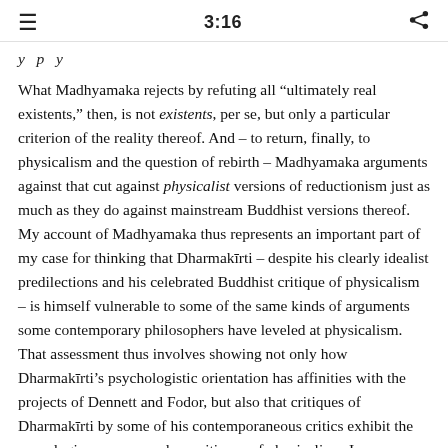3:16
y p y
What Madhyamaka rejects by refuting all “ultimately real existents,” then, is not existents, per se, but only a particular criterion of the reality thereof. And – to return, finally, to physicalism and the question of rebirth – Madhyamaka arguments against that cut against physicalist versions of reductionism just as much as they do against mainstream Buddhist versions thereof. My account of Madhyamaka thus represents an important part of my case for thinking that Dharmakīrti – despite his clearly idealist predilections and his celebrated Buddhist critique of physicalism – is himself vulnerable to some of the same kinds of arguments some contemporary philosophers have leveled at physicalism. That assessment thus involves showing not only how Dharmakīrti’s psychologistic orientation has affinities with the projects of Dennett and Fodor, but also that critiques of Dharmakīrti by some of his contemporaneous critics exhibit the same logic as some modern critiques of physicalism. In